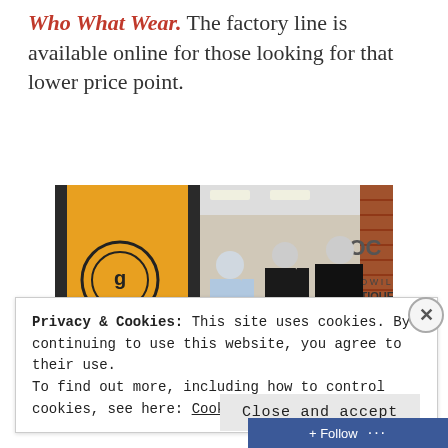Who What Wear. The factory line is available online for those looking for that lower price point.
[Figure (photo): Interior/exterior of OC Goodwill Boutique store showing mannequins dressed in various outfits, brick wall with OC Boutique logo, yellow-walled interior with clothing racks visible.]
Privacy & Cookies: This site uses cookies. By continuing to use this website, you agree to their use.
To find out more, including how to control cookies, see here: Cookie Policy
Close and accept
Follow ...